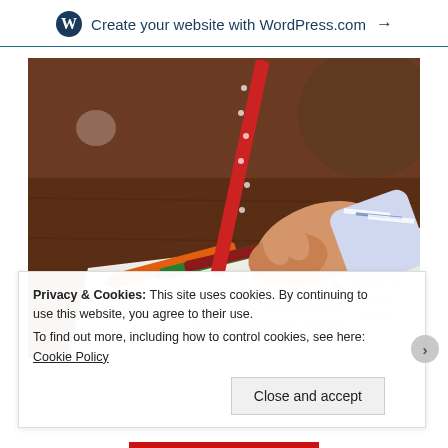Create your website with WordPress.com →
[Figure (photo): Child drawing or writing on paper with a red polka-dot pencil, with colorful crayons on a wooden table]
Privacy & Cookies: This site uses cookies. By continuing to use this website, you agree to their use.
To find out more, including how to control cookies, see here: Cookie Policy
Close and accept